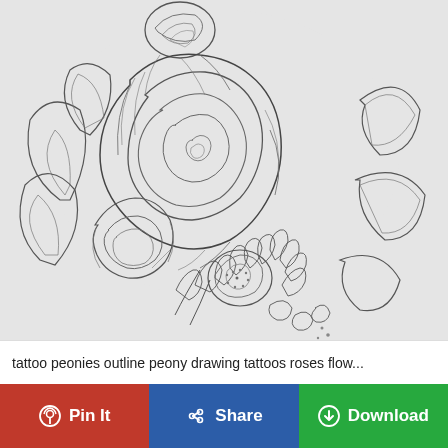[Figure (illustration): Line drawing / sketch of peonies and roses with leaves. The artwork shows detailed pencil outline illustrations of large peony/rose blooms with layered petals, surrounding leaves, and scattered petals falling at the bottom. Done in black pencil outline on light grey/white paper background.]
tattoo peonies outline peony drawing tattoos roses flow...
Pin It
Share
Download